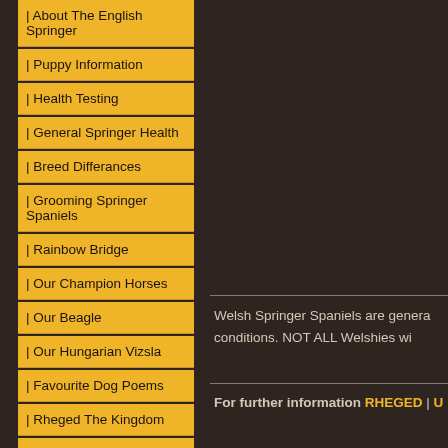| About The English Springer
| Puppy Information
| Health Testing
| General Springer Health
| Breed Differances
| Grooming Springer Spaniels
| Rainbow Bridge
| Our Champion Horses
| Our Beagle
| Our Hungarian Vizsla
| Favourite Dog Poems
| Rheged The Kingdom
| Contact Us
| Guest Book
| Links
Welsh Springer Spaniels are generally... conditions. NOT ALL Welshies wi...
For further information RHEGED | U...